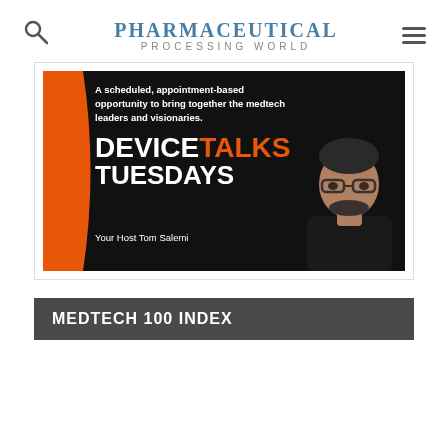Pharmaceutical Processing World
[Figure (advertisement): DeviceTalks Tuesdays advertisement banner on black background with orange stripe. Text: 'A scheduled, appointment-based opportunity to bring together the medtech leaders and visionaries. DEVICETALKS TUESDAYS. Your Host Tom Salemi.' Shows host portrait photo.]
MEDTECH 100 INDEX